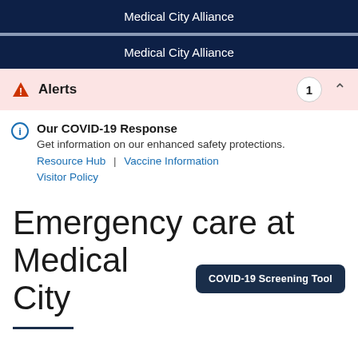Medical City Alliance
Medical City Alliance
Alerts 1
Our COVID-19 Response
Get information on our enhanced safety protections.
Resource Hub | Vaccine Information
Visitor Policy
Emergency care at Medical City
COVID-19 Screening Tool